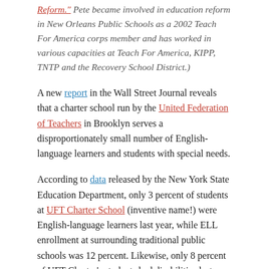Reform." Pete became involved in education reform in New Orleans Public Schools as a 2002 Teach For America corps member and has worked in various capacities at Teach For America, KIPP, TNTP and the Recovery School District.)
A new report in the Wall Street Journal reveals that a charter school run by the United Federation of Teachers in Brooklyn serves a disproportionately small number of English-language learners and students with special needs.
According to data released by the New York State Education Department, only 3 percent of students at UFT Charter School (inventive name!) were English-language learners last year, while ELL enrollment at surrounding traditional public schools was 12 percent. Likewise, only 8 percent of UFT Charter's students had disabilities last year, while students with special needs